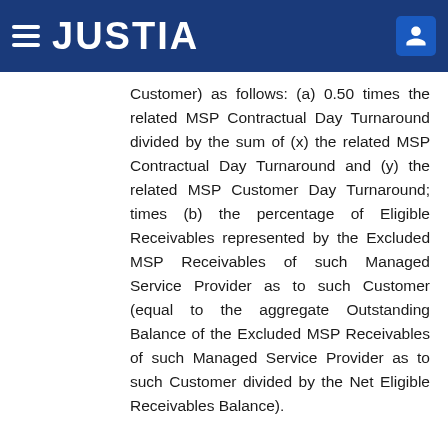JUSTIA
Customer) as follows: (a) 0.50 times the related MSP Contractual Day Turnaround divided by the sum of (x) the related MSP Contractual Day Turnaround and (y) the related MSP Customer Day Turnaround; times (b) the percentage of Eligible Receivables represented by the Excluded MSP Receivables of such Managed Service Provider as to such Customer (equal to the aggregate Outstanding Balance of the Excluded MSP Receivables of such Managed Service Provider as to such Customer divided by the Net Eligible Receivables Balance).